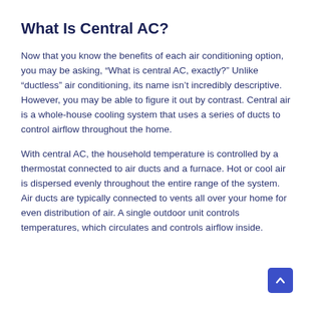What Is Central AC?
Now that you know the benefits of each air conditioning option, you may be asking, “What is central AC, exactly?” Unlike “ductless” air conditioning, its name isn’t incredibly descriptive. However, you may be able to figure it out by contrast. Central air is a whole-house cooling system that uses a series of ducts to control airflow throughout the home.
With central AC, the household temperature is controlled by a thermostat connected to air ducts and a furnace. Hot or cool air is dispersed evenly throughout the entire range of the system. Air ducts are typically connected to vents all over your home for even distribution of air. A single outdoor unit controls temperatures, which circulates and controls airflow inside.